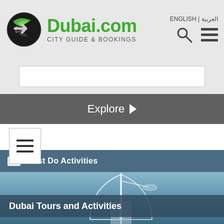Dubai.com CITY GUIDE & BOOKINGS | ENGLISH | العربية
[Figure (screenshot): Dubai.com website screenshot showing logo, navigation, Explore bar, Must Do Activities section, and Dubai Tours and Activities image of Burj Al Arab]
Explore ▶
Must Do Activities
Dubai Tours and Activities